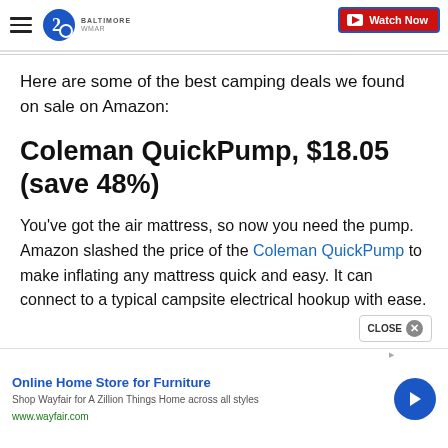WMAR Baltimore | Watch Now
Here are some of the best camping deals we found on sale on Amazon:
Coleman QuickPump, $18.05 (save 48%)
You’ve got the air mattress, so now you need the pump. Amazon slashed the price of the Coleman QuickPump to make inflating any mattress quick and easy. It can connect to a typical campsite electrical hookup with ease.
Online Home Store for Furniture
Shop Wayfair for A Zillion Things Home across all styles
www.wayfair.com